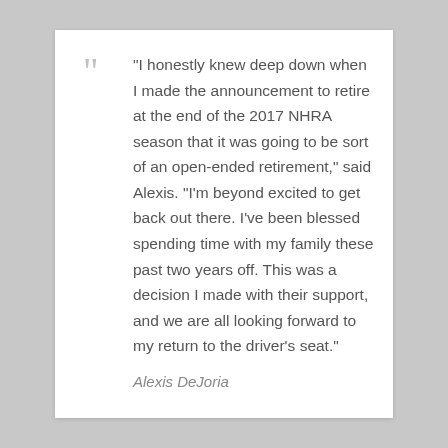“I honestly knew deep down when I made the announcement to retire at the end of the 2017 NHRA season that it was going to be sort of an open-ended retirement,” said Alexis. “I’m beyond excited to get back out there. I’ve been blessed spending time with my family these past two years off. This was a decision I made with their support, and we are all looking forward to my return to the driver’s seat.”
Alexis DeJoria